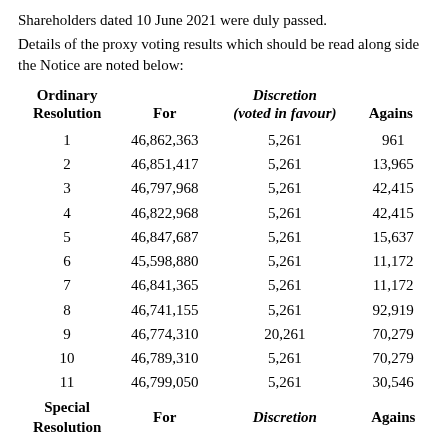Shareholders dated 10 June 2021 were duly passed.
Details of the proxy voting results which should be read along side the Notice are noted below:
| Ordinary Resolution | For | Discretion (voted in favour) | Against |
| --- | --- | --- | --- |
| 1 | 46,862,363 | 5,261 | 961 |
| 2 | 46,851,417 | 5,261 | 13,965 |
| 3 | 46,797,968 | 5,261 | 42,415 |
| 4 | 46,822,968 | 5,261 | 42,415 |
| 5 | 46,847,687 | 5,261 | 15,637 |
| 6 | 45,598,880 | 5,261 | 11,172 |
| 7 | 46,841,365 | 5,261 | 11,172 |
| 8 | 46,741,155 | 5,261 | 92,919 |
| 9 | 46,774,310 | 20,261 | 70,279 |
| 10 | 46,789,310 | 5,261 | 70,279 |
| 11 | 46,799,050 | 5,261 | 30,546 |
| Special Resolution | For | Discretion | Against |